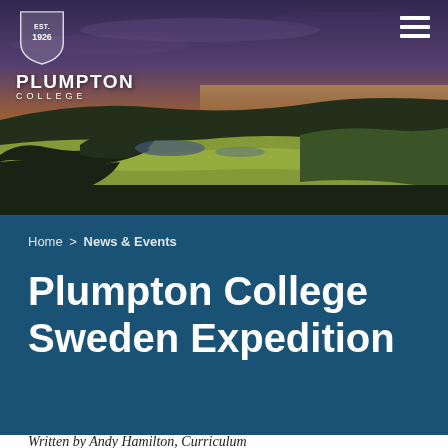[Figure (photo): Aerial landscape photo of rolling English countryside at sunset/dusk with fields, trees, and a lake visible, warm golden light on the horizon with dramatic sky.]
[Figure (logo): Plumpton College shield logo with EST. 1926 text, white on dark background. Text reads PLUMPTON COLLEGE.]
Home > News & Events
Plumpton College Sweden Expedition
Written by Andy Hamilton, Curriculum